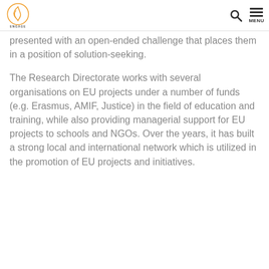ENGAGE [logo] [search] MENU
presented with an open-ended challenge that places them in a position of solution-seeking.
The Research Directorate works with several organisations on EU projects under a number of funds (e.g. Erasmus, AMIF, Justice) in the field of education and training, while also providing managerial support for EU projects to schools and NGOs. Over the years, it has built a strong local and international network which is utilized in the promotion of EU projects and initiatives.